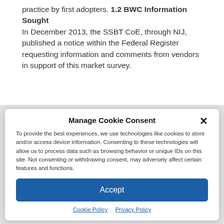practice by first adopters. 1.2 BWC Information Sought
In December 2013, the SSBT CoE, through NIJ, published a notice within the Federal Register requesting information and comments from vendors in support of this market survey.
Manage Cookie Consent
To provide the best experiences, we use technologies like cookies to store and/or access device information. Consenting to these technologies will allow us to process data such as browsing behavior or unique IDs on this site. Not consenting or withdrawing consent, may adversely affect certain features and functions.
Accept
Cookie Policy   Privacy Policy